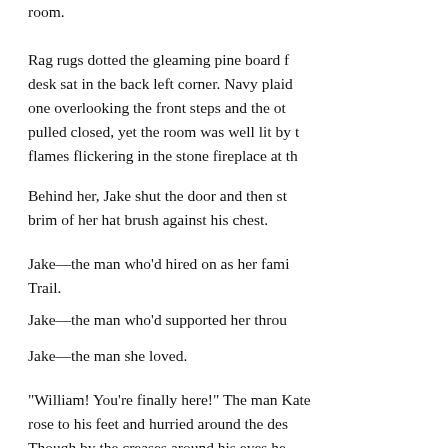room.
Rag rugs dotted the gleaming pine board f... desk sat in the back left corner. Navy plaid one overlooking the front steps and the ot pulled closed, yet the room was well lit by t flames flickering in the stone fireplace at th
Behind her, Jake shut the door and then st brim of her hat brush against his chest.
Jake—the man who'd hired on as her fami Trail.
Jake—the man who'd supported her throu
Jake—the man she loved.
"William! You're finally here!" The man Kate rose to his feet and hurried around the des Though by the creases around his eyes he he had hair the color of coal, broad should clothing, while outdated by nearly a decad brown silk cravat perfectly arranged at his